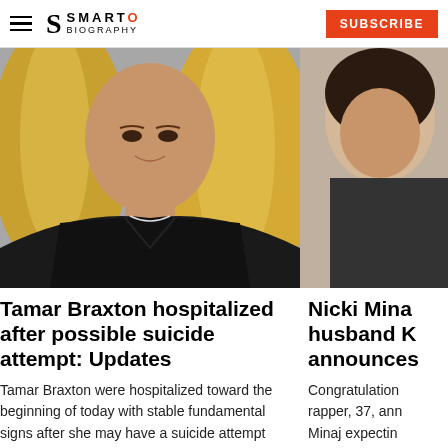SmartoBiography — SUBSCRIBE
[Figure (photo): Woman with long blonde hair wearing black sleeveless top with crescent moon necklace, smiling, photographed from chest up]
[Figure (photo): Partial image of a person, cropped on right side of page]
Tamar Braxton hospitalized after possible suicide attempt: Updates
Tamar Braxton were hospitalized toward the beginning of today with stable fundamental signs after she may have a suicide attempt
Nicki Mina husband K announces
Congratulation rapper, 37, ann Minaj expectin